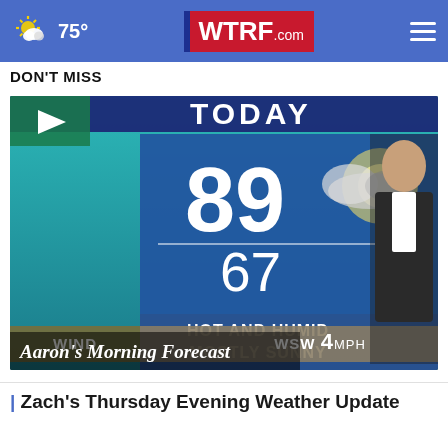75° WTRF.com
DON'T MISS
[Figure (screenshot): Weather forecast video thumbnail showing today's forecast: high 89, low 67, Hot and Humid, Mostly Sunny, Wind WSW 4MPH, with a meteorologist in the frame and overlay text 'Aaron's Morning Forecast']
| Zach's Thursday Evening Weather Update